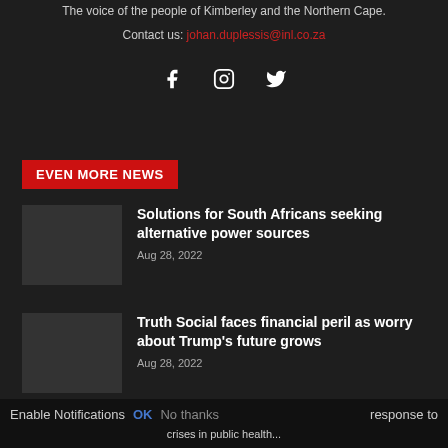The voice of the people of Kimberley and the Northern Cape.
Contact us: johan.duplessis@inl.co.za
[Figure (other): Social media icons: Facebook, Instagram, Twitter]
EVEN MORE NEWS
Solutions for South Africans seeking alternative power sources
Aug 28, 2022
Truth Social faces financial peril as worry about Trump's future grows
Aug 28, 2022
Enable Notifications  OK  No thanks  response to
crises in public health...